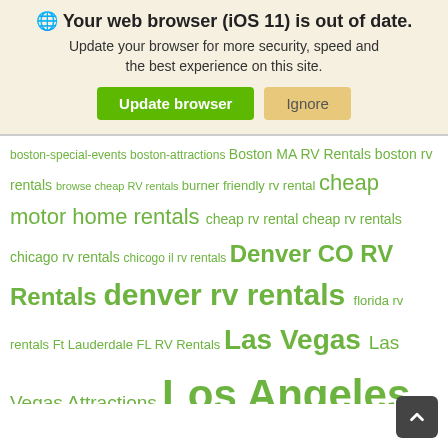🌐 Your web browser (iOS 11) is out of date. Update your browser for more security, speed and the best experience on this site.
Update browser | Ignore
boston-special-events boston-attractions Boston MA RV Rentals boston rv rentals browse cheap RV rentals burner friendly rv rental cheap motor home rentals cheap rv rental cheap rv rentals chicago rv rentals chicogo il rv rentals Denver CO RV Rentals denver rv rentals florida rv rentals Ft Lauderdale FL RV Rentals Las Vegas Las Vegas Attractions Los Angeles Los Angeles Events miami motorhome rentals Motorhome Rentals in Boston MA motorhome rentals in chicago Motorhome Rentals in Denver CO Motorhome Rentals in Las Vegas NV new york rv rentals one way motorhome rentals one way rv rental one way rv rentals phoenix rv rentals recreation in las vegas road trip rv rentals in boston rv rentals in chicago rv rentals in denver RV Rentals in Las Vegas RV Rentals in Los Angeles rv rentals in san...